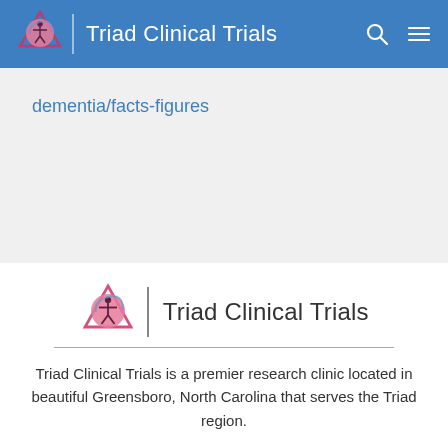Triad Clinical Trials
dementia/facts-figures
[Figure (logo): Triad Clinical Trials logo with stylized human figure icon in pink/red diamond shape and text 'Triad Clinical Trials']
Triad Clinical Trials is a premier research clinic located in beautiful Greensboro, North Carolina that serves the Triad region.